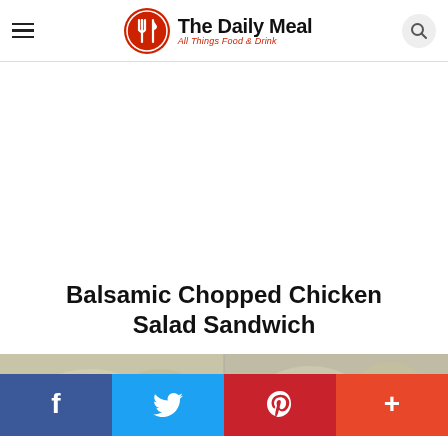The Daily Meal — All Things Food & Drink
Balsamic Chopped Chicken Salad Sandwich
[Figure (photo): Two-panel food photo showing ingredients and a chicken salad sandwich preparation]
[Figure (infographic): Social sharing bar with Facebook, Twitter, Pinterest, and More (+) buttons]